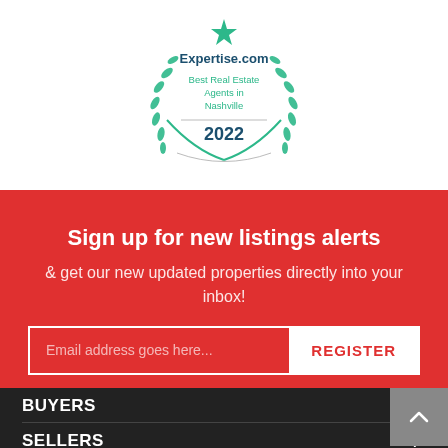[Figure (logo): Expertise.com award badge — Best Real Estate Agents in Nashville 2022, with green laurel wreath border]
Sign up for new listings alerts
& get our new updated properties directly into your inbox!
Email address goes here...
REGISTER
BUYERS
SELLERS